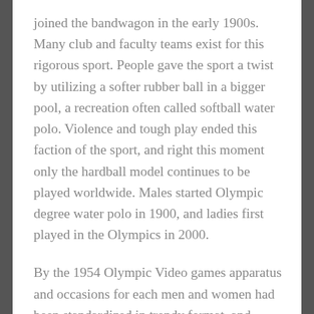joined the bandwagon in the early 1900s. Many club and faculty teams exist for this rigorous sport. People gave the sport a twist by utilizing a softer rubber ball in a bigger pool, a recreation often called softball water polo. Violence and tough play ended this faction of the sport, and right this moment only the hardball model continues to be played worldwide. Males started Olympic degree water polo in 1900, and ladies first played in the Olympics in 2000.
By the 1954 Olympic Video games apparatus and occasions for each men and women had been standardized in trendy format, and scoring requirements, together with a degree system from 1 to 10, have been carried out. Niger -one of the World's poorest nations- despatched 4 athletes (boxers) to the 1972 Munich Olympic Video games.